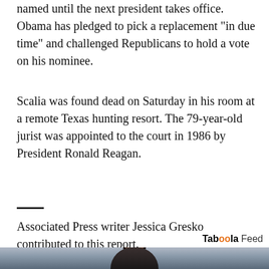named until the next president takes office. Obama has pledged to pick a replacement "in due time" and challenged Republicans to hold a vote on his nominee.
Scalia was found dead on Saturday in his room at a remote Texas hunting resort. The 79-year-old jurist was appointed to the court in 1986 by President Ronald Reagan.
Associated Press writer Jessica Gresko contributed to this report.
[Figure (photo): Photo of a woman with long dark hair wearing dark clothing, standing against a cloudy sky background. Appears in a Taboola Feed section.]